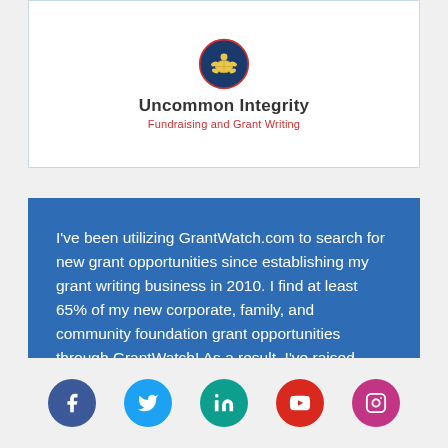[Figure (logo): Uncommon Integrity logo with turtle emblem, company name 'Uncommon Integrity' and tagline 'Fundraising and Grant Writing']
I've been utilizing GrantWatch.com to search for new grant opportunities since establishing my grant writing business in 2010. I find at least 65% of my new corporate, family, and community foundation grant opportunities through GrantWatch! As a result, I've raised more than $13 million d...
[Figure (other): Social media icons: Facebook, Twitter, LinkedIn, YouTube, Instagram]